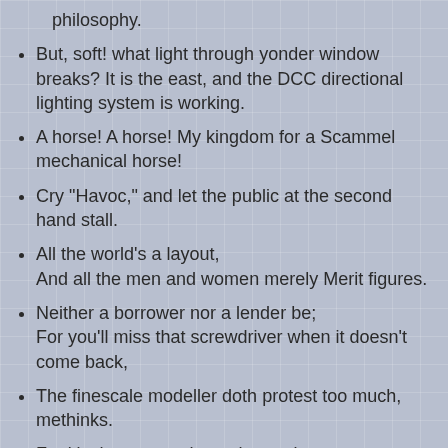philosophy.
But, soft! what light through yonder window breaks? It is the east, and the DCC directional lighting system is working.
A horse! A horse! My kingdom for a Scammel mechanical horse!
Cry "Havoc," and let the public at the second hand stall.
All the world's a layout,
And all the men and women merely Merit figures.
Neither a borrower nor a lender be;
For you'll miss that screwdriver when it doesn't come back,
The finescale modeller doth protest too much, methinks.
For 'tis the sport to have the engineer
Hoist with his own petard...
Now is the winter of our discontent
Made glorious summer by this trip to York show.